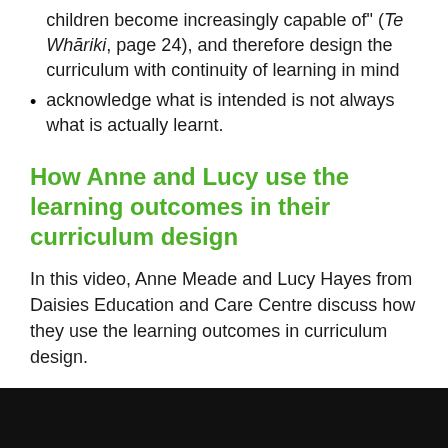children become increasingly capable of" (Te Whāriki, page 24), and therefore design the curriculum with continuity of learning in mind
acknowledge what is intended is not always what is actually learnt.
How Anne and Lucy use the learning outcomes in their curriculum design
In this video, Anne Meade and Lucy Hayes from Daisies Education and Care Centre discuss how they use the learning outcomes in curriculum design.
[Figure (screenshot): Black video player area at the bottom of the page]